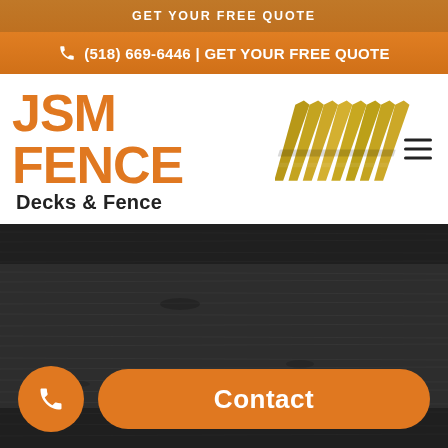GET YOUR FREE QUOTE
☎ (518) 669-6446 | GET YOUR FREE QUOTE
[Figure (logo): JSM Fence Decks & Fence company logo with orange text and golden fence picket icon]
[Figure (photo): Dark wood texture background panel]
Contact